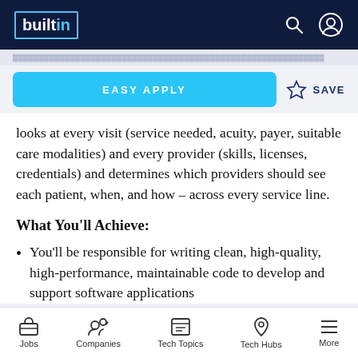builtin
looks at every visit (service needed, acuity, payer, suitable care modalities) and every provider (skills, licenses, credentials) and determines which providers should see each patient, when, and how – across every service line.
What You'll Achieve:
You'll be responsible for writing clean, high-quality, high-performance, maintainable code to develop and support software applications
Jobs  Companies  Tech Topics  Tech Hubs  More